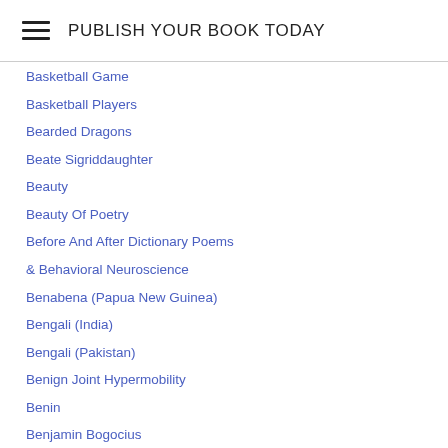PUBLISH YOUR BOOK TODAY
Basketball Game
Basketball Players
Bearded Dragons
Beate Sigriddaughter
Beauty
Beauty Of Poetry
Before And After Dictionary Poems
& Behavioral Neuroscience
Benabena (Papua New Guinea)
Bengali (India)
Bengali (Pakistan)
Benign Joint Hypermobility
Benin
Benjamin Bogocius
Benjamin Hyatt
Ben Yehuda Press
Bernardine Marie Fontanezon
Bett...